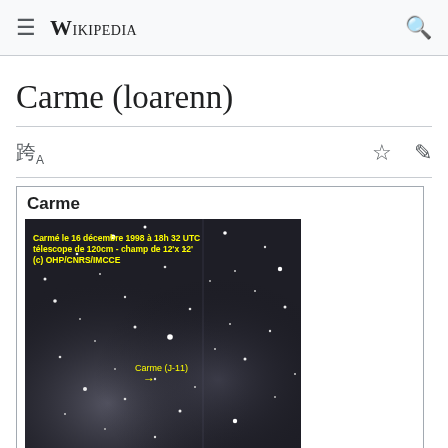Wikipedia
Carme (loarenn)
[Figure (photo): Wikipedia mobile page for 'Carme (loarenn)' showing a navbar with hamburger menu and search icon, page title, language/action icons, and an infobox with title 'Carme' containing an astronomical photograph. The photo shows a starfield taken on 16 December 1998 at 18h32 UTC with a 120cm telescope, field 12'x12', copyright OHP/CNRS/IMCCE. A yellow annotation reads 'Carme (J-11)' with an arrow pointing to the moon.]